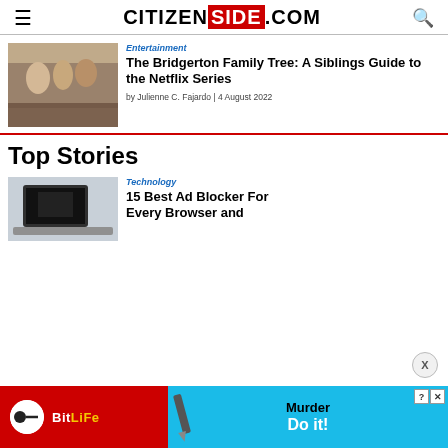CITIZENSIDE.COM
Entertainment
The Bridgerton Family Tree: A Siblings Guide to the Netflix Series
by Julienne C. Fajardo | 4 August 2022
Top Stories
Technology
15 Best Ad Blocker For Every Browser and
[Figure (photo): Advertisement banner for BitLife game: Murder - Do it!]